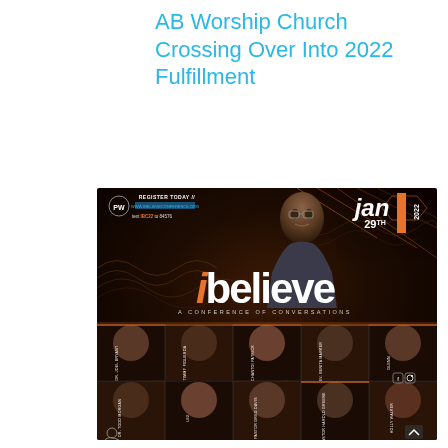AB Worship Church Crossing Over Into 2022 Fulfillment
[Figure (photo): Promotional flyer for 'ibelieve: A Conference of Conversations' event. Dark background with orange and cyan accents. Features a main speaker photo at top, the ibelieve logo in large white/orange text, event date Jan 29th 2022, registration info (www.ibelieveconference.org, text IBC22 to 84576), and a grid of 10 speaker headshots at the bottom with names in vertical text.]